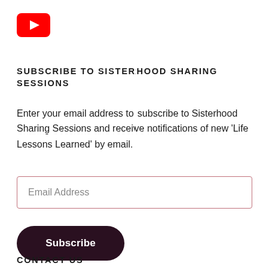[Figure (logo): YouTube logo — red rounded rectangle with white play triangle]
SUBSCRIBE TO SISTERHOOD SHARING SESSIONS
Enter your email address to subscribe to Sisterhood Sharing Sessions and receive notifications of new 'Life Lessons Learned' by email.
Email Address
Subscribe
CONTACT US